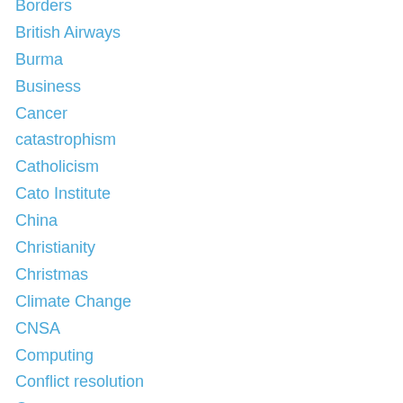Borders
British Airways
Burma
Business
Cancer
catastrophism
Catholicism
Cato Institute
China
Christianity
Christmas
Climate Change
CNSA
Computing
Conflict resolution
Cosmos
Culture
Darfur
Dawkins
Death Penalty